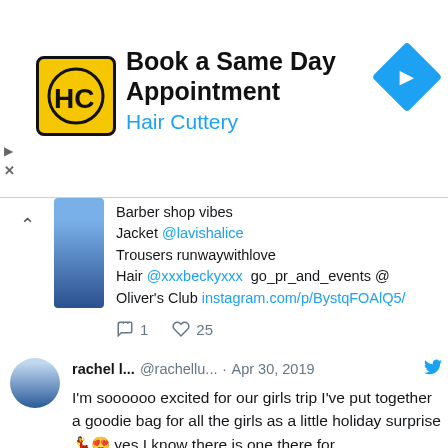[Figure (infographic): Hair Cuttery advertisement banner: yellow logo with HC letters, 'Book a Same Day Appointment' headline, 'Hair Cuttery' subtitle in blue, blue diamond arrow icon on right]
Barber shop vibes
Jacket @lavishalice
Trousers runwaywithlove
Hair @xxxbeckyxxx  go_pr_and_events @
Oliver's Club instagram.com/p/BystqFOAlQ5/
…
1  25
rachel l...  @rachellu...  · Apr 30, 2019
I'm soooooo excited for our girls trip I've put together a goodie bag for all the girls as a little holiday surprise 💃😍 yes I know there is one there for @TanyaBardo7 🏠 I didn't know Tanya…
instagram.com/p/Bw4Rsc9AysL/…
24  166